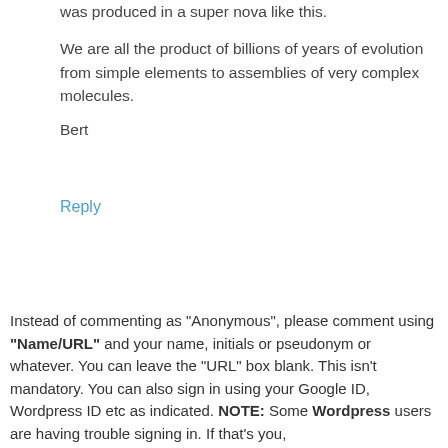was produced in a super nova like this.
We are all the product of billions of years of evolution from simple elements to assemblies of very complex molecules.
Bert
Reply
Instead of commenting as "Anonymous", please comment using "Name/URL" and your name, initials or pseudonym or whatever. You can leave the "URL" box blank. This isn't mandatory. You can also sign in using your Google ID, Wordpress ID etc as indicated. NOTE: Some Wordpress users are having trouble signing in. If that's you,